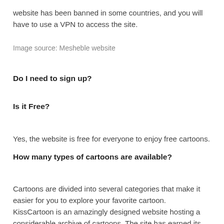website has been banned in some countries, and you will have to use a VPN to access the site.
Image source: Mesheble website
Do I need to sign up?
Is it Free?
Yes, the website is free for everyone to enjoy free cartoons.
How many types of cartoons are available?
Cartoons are divided into several categories that make it easier for you to explore your favorite cartoon.
KissCartoon is an amazingly designed website hosting a considerable archive of cartoons. The site has earned its place in the